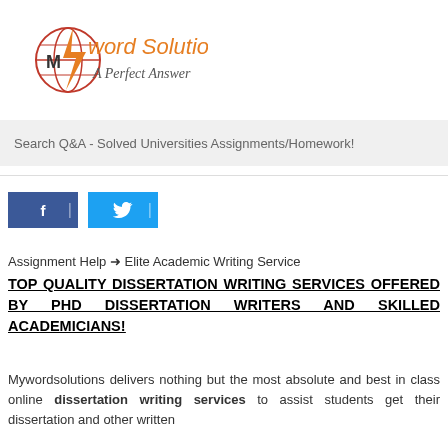[Figure (logo): MyWord Solution logo with globe icon, lightning bolt, and tagline 'A Perfect Answer']
Search Q&A - Solved Universities Assignments/Homework!
Assignment Help → Elite Academic Writing Service
TOP QUALITY DISSERTATION WRITING SERVICES OFFERED BY PHD DISSERTATION WRITERS AND SKILLED ACADEMICIANS!
Mywordsolutions delivers nothing but the most absolute and best in class online dissertation writing services to assist students get their dissertation and other written